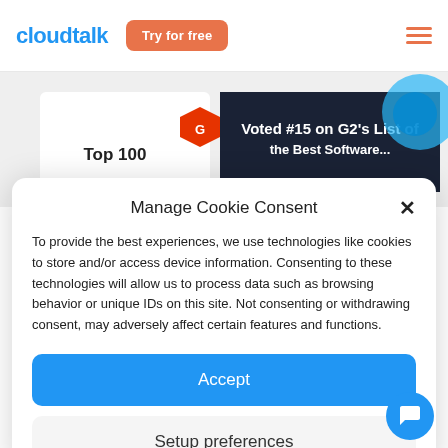[Figure (screenshot): CloudTalk website header with logo, 'Try for free' orange button, and hamburger menu icon]
[Figure (screenshot): G2 Top 100 badge and 'Voted #15 on G2's List of...' dark banner image]
Manage Cookie Consent
To provide the best experiences, we use technologies like cookies to store and/or access device information. Consenting to these technologies will allow us to process data such as browsing behavior or unique IDs on this site. Not consenting or withdrawing consent, may adversely affect certain features and functions.
Accept
Setup preferences